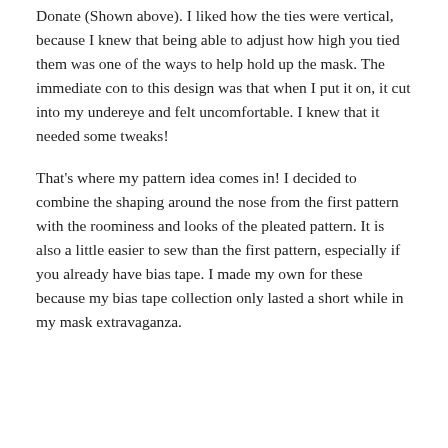Donate  (Shown above). I liked how the ties were vertical, because I knew that being able to adjust how high you tied them was one of the ways to help hold up the mask.  The immediate con to this design was that when I put it on, it cut into my undereye and felt uncomfortable.  I knew that it needed some tweaks!
That's where my pattern idea comes in! I decided to combine the shaping around the nose  from the first pattern with the roominess and looks of the pleated pattern. It is also a little easier to sew than the first pattern, especially if you already have bias tape. I made my own for these because my bias tape collection only lasted a short while in my mask extravaganza.